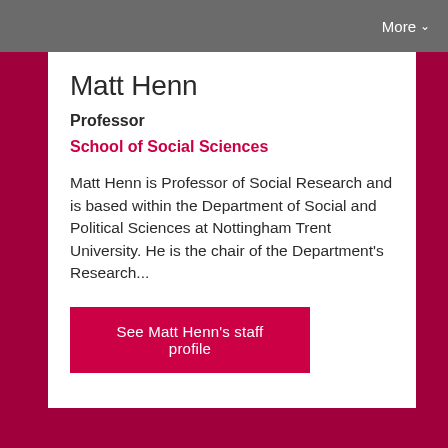More
Matt Henn
Professor
School of Social Sciences
Matt Henn is Professor of Social Research and is based within the Department of Social and Political Sciences at Nottingham Trent University. He is the chair of the Department's Research...
See Matt Henn's staff profile